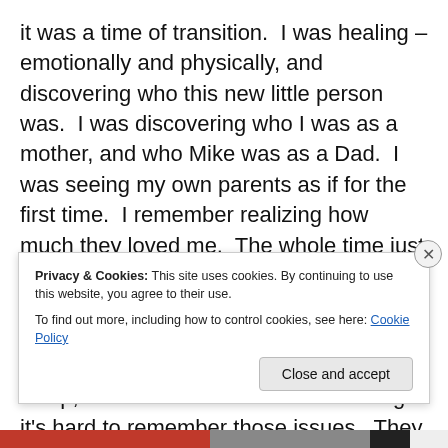it was a time of transition.  I was healing – emotionally and physically, and discovering who this new little person was.  I was discovering who I was as a mother, and who Mike was as a Dad.  I was seeing my own parents as if for the first time.  I remember realizing how much they loved me.  The whole time just felt so....connected.  I felt connected.  It was as if time stopped.  Each day it was just me and my little boy, my husband and my family.  Our family.  The lack of sleep, the trouble we had breastfeeding – it's hard to remember those issues.  They were there, but it was just something we dealt with, not dwelled upon.  We can thank
Privacy & Cookies: This site uses cookies. By continuing to use this website, you agree to their use.
To find out more, including how to control cookies, see here: Cookie Policy